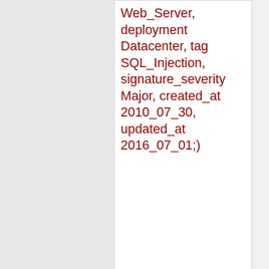Web_Server, deployment Datacenter, tag SQL_Injection, signature_severity Major, created_at 2010_07_30, updated_at 2016_07_01;)
Added 2017-08-07 20:57:41 UTC
alert tcp $EXTERNAL_NET any -> $HTTP_SERVERS $HTTP_PORTS (msg:"ET WEB_SPECIFIC_APPS